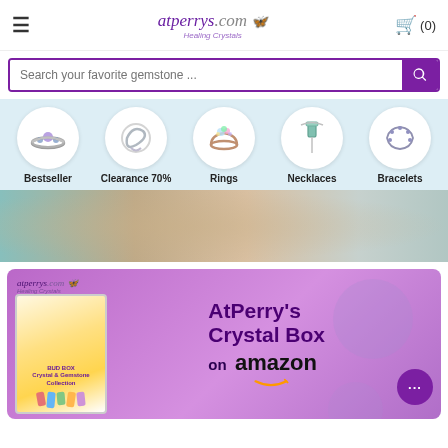atperrys.com Healing Crystals — Cart (0)
Search your favorite gemstone ...
[Figure (illustration): Category navigation row with 5 circular icons: Bestseller (ring with gemstone), Clearance 70% (bracelet/bangle), Rings (rose gold ring with opal), Necklaces (pendant necklace), Bracelets (chain bracelet)]
[Figure (photo): Close-up photo of a person wearing a teal blue top, hair down, possibly showing an emotion or close embrace]
[Figure (illustration): Promotional banner with purple gradient background, atperrys.com logo, a crystal box product image on the left, and text: AtPerry's Crystal Box on amazon with Amazon smile logo. Chat bubble icon on bottom right.]